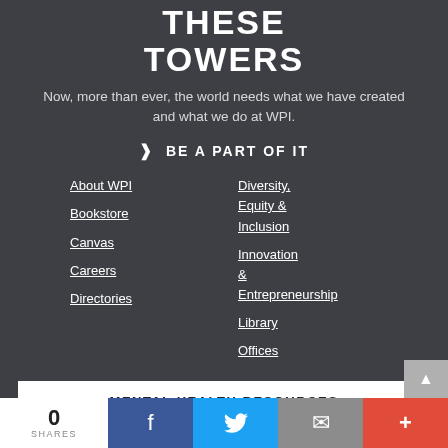THESE TOWERS
Now, more than ever, the world needs what we have created and what we do at WPI.
❯  BE A PART OF IT
About WPI
Bookstore
Canvas
Careers
Directories
Diversity, Equity & Inclusion
Innovation & Entrepreneurship
Library
Offices
MENTAL HEALTH RESOURCES
WORCESTER POLYTECHNIC INSTITUTE
100 Institute Road
0 SHARES